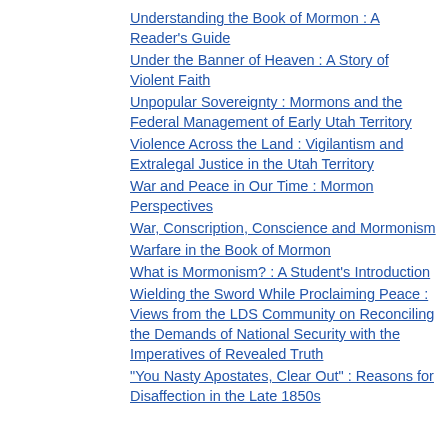Understanding the Book of Mormon : A Reader's Guide
Under the Banner of Heaven : A Story of Violent Faith
Unpopular Sovereignty : Mormons and the Federal Management of Early Utah Territory
Violence Across the Land : Vigilantism and Extralegal Justice in the Utah Territory
War and Peace in Our Time : Mormon Perspectives
War, Conscription, Conscience and Mormonism
Warfare in the Book of Mormon
What is Mormonism? : A Student's Introduction
Wielding the Sword While Proclaiming Peace : Views from the LDS Community on Reconciling the Demands of National Security with the Imperatives of Revealed Truth
"You Nasty Apostates, Clear Out" : Reasons for Disaffection in the Late 1850s